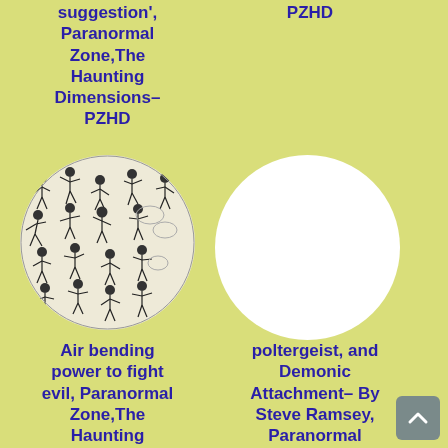suggestion', Paranormal Zone,The Haunting Dimensions– PZHD
PZHD
[Figure (illustration): A circular illustration showing multiple small cartoon-style figures appearing to be air bending / martial arts poses, drawn in black ink on a light background]
[Figure (illustration): A plain white circle on yellow-green background]
Air bending power to fight evil, Paranormal Zone,The Haunting Dimensions– PZHD
poltergeist, and Demonic Attachment– By Steve Ramsey, Paranormal Zone,The Haunting Dimensions–